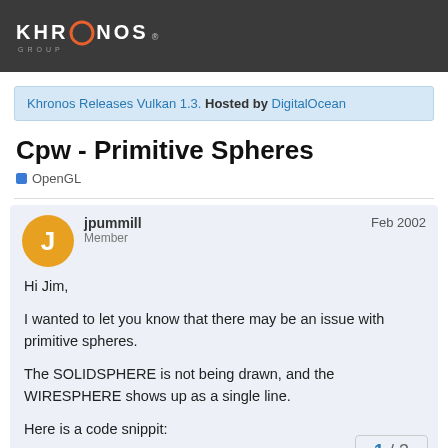Khronos Group
Khronos Releases Vulkan 1.3. Hosted by DigitalOcean
Cpw - Primitive Spheres
OpenGL
jpummill
Member
Feb 2002
Hi Jim,

I wanted to let you know that there may be an issue with primitive spheres.

The SOLIDSPHERE is not being drawn, and the WIRESPHERE shows up as a single line.

Here is a code snippit:
//
1 / 3